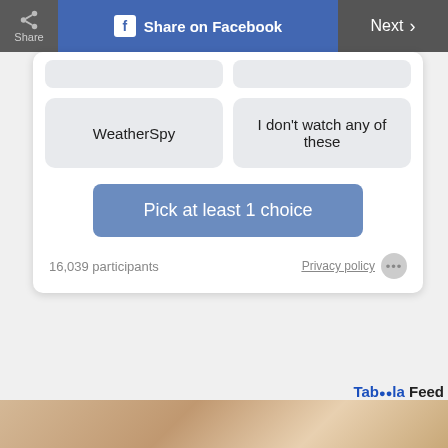Share | Share on Facebook | Next >
WeatherSpy
I don't watch any of these
Pick at least 1 choice
16,039 participants
Privacy policy
Taboola Feed
[Figure (photo): Bottom strip showing a hand/skin tones warm photograph]